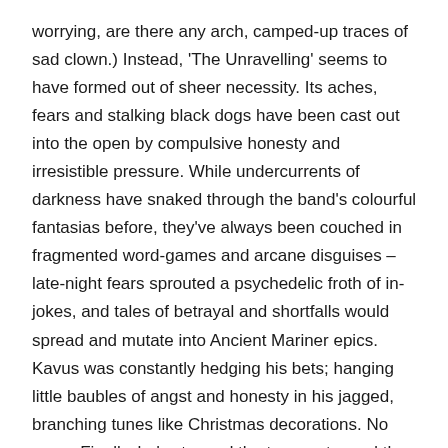worrying, are there any arch, camped-up traces of sad clown.) Instead, 'The Unravelling' seems to have formed out of sheer necessity. Its aches, fears and stalking black dogs have been cast out into the open by compulsive honesty and irresistible pressure. While undercurrents of darkness have snaked through the band's colourful fantasias before, they've always been couched in fragmented word-games and arcane disguises – late-night fears sprouted a psychedelic froth of in-jokes, and tales of betrayal and shortfalls would spread and mutate into Ancient Mariner epics. Kavus was constantly hedging his bets; hanging little baubles of angst and honesty in his jagged, branching tunes like Christmas decorations. No more. Finally, he's stopped the tease, stopped the sleight-of-hand and the fucking fan-dance.